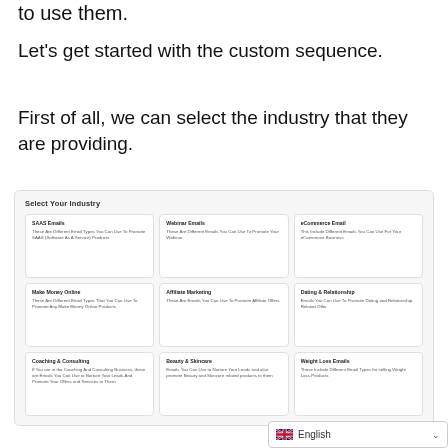to use them.
Let’s get started with the custom sequence.
First of all, we can select the industry that they are providing.
[Figure (screenshot): A UI panel titled 'Select Your Industry' showing a 3-column grid of industry cards: SAAS Emails, Webinar Emails, eCommerce Email, Make Money Online, Affiliate Marketing, Dating & Relationship, Coaching & Consulting, Beauty & Skincare, Weight Loss Emails. Each card has a bold title and a short description.]
English